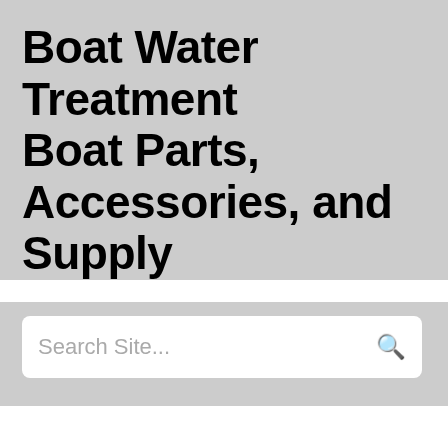Boat Water Treatment Boat Parts, Accessories, and Supply
Search Site...
Boat Water